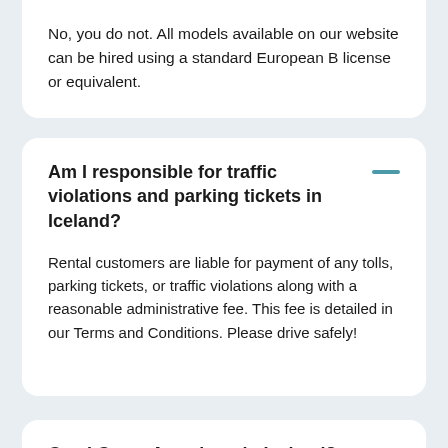No, you do not. All models available on our website can be hired using a standard European B license or equivalent.
Am I responsible for traffic violations and parking tickets in Iceland?
Rental customers are liable for payment of any tolls, parking tickets, or traffic violations along with a reasonable administrative fee. This fee is detailed in our Terms and Conditions. Please drive safely!
Can I Camp Anywhere in Iceland?
No, you cannot. Campers and motorhomes in Iceland must head to camping facilities, whether campgrounds or